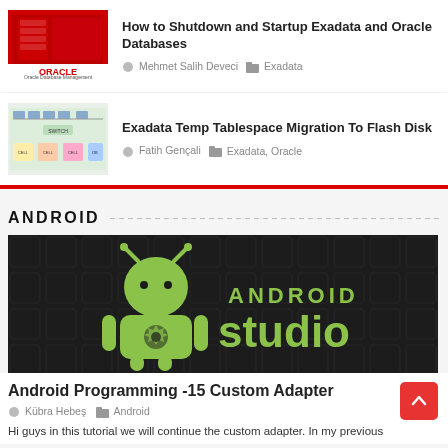[Figure (screenshot): Oracle Database Management thumbnail - red background with server image and Oracle logo]
How to Shutdown and Startup Exadata and Oracle Databases
Mehmet Salih Deveci  Exadata
[Figure (screenshot): Exadata architecture diagram thumbnail showing storage components]
Exadata Temp Tablespace Migration To Flash Disk
Fatih Gençali  Exadata, Oracle
ANDROID
[Figure (logo): Android Studio logo - dark background with green Android robot and 'ANDROID studio' text in yellow-green]
Android Programming -15 Custom Adapter
Kübra Hebeş  Android
Hi guys in this tutorial we will continue the custom adapter. In my previous